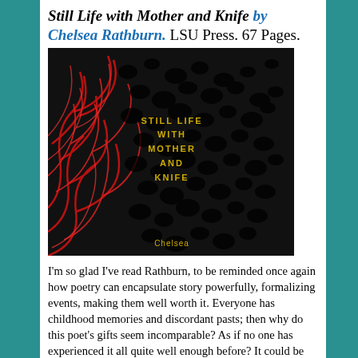Still Life with Mother and Knife by Chelsea Rathburn. LSU Press. 67 Pages.
[Figure (photo): Book cover of 'Still Life with Mother and Knife' by Chelsea Rathburn — dark background with red branching coral-like or vein-like pattern, with the book title in yellow/gold text and author name at the bottom.]
I'm so glad I've read Rathburn, to be reminded once again how poetry can encapsulate story powerfully, formalizing events, making them well worth it. Everyone has childhood memories and discordant pasts; then why do this poet's gifts seem incomparable? As if no one has experienced it all quite well enough before? It could be her craft and form, invisible to the eye and ear, holding feeling and language together with a special chemistry.
Deft explorations into the soul are not for everyone – not even for all poets – examining the vulnerability and loss. So how is it that she insists